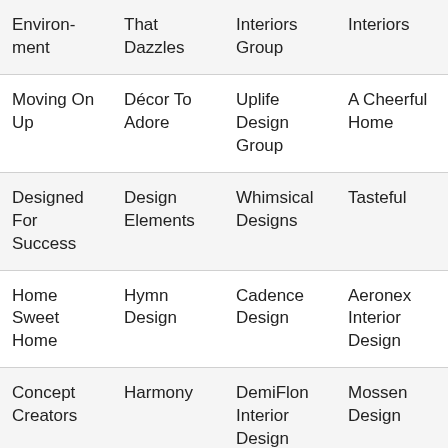| Environment | That Dazzles | Interiors Group | Interiors |
| Moving On Up | Décor To Adore | Uplife Design Group | A Cheerful Home |
| Designed For Success | Design Elements | Whimsical Designs | Tasteful |
| Home Sweet Home | Hymn Design | Cadence Design | Aeronex Interior Design |
| Concept Creators | Harmony | DemiFlon Interior Design | Mossen Design |